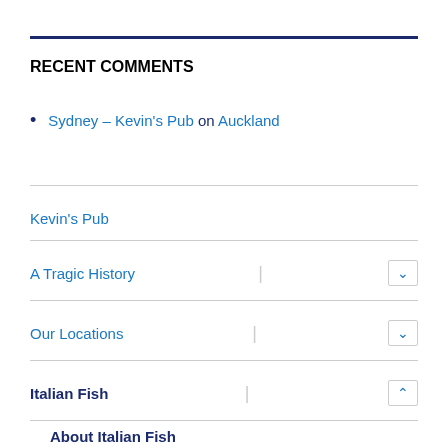RECENT COMMENTS
Sydney – Kevin's Pub on Auckland
Kevin's Pub
A Tragic History
Our Locations
Italian Fish
About Italian Fish